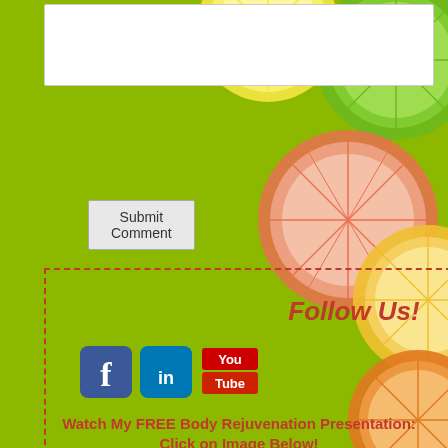[Figure (illustration): Decorative citrus slices (lemon, lime, grapefruit, orange) arranged in upper-right corner background on lime green background]
[Figure (screenshot): Comment text area input box (white rectangle with border)]
Submit Comment
Follow Us!
[Figure (illustration): Social media icons: Facebook (blue rounded square with f), LinkedIn (blue rounded square with in), YouTube (You Tube red/white logo)]
Watch My FREE Body Rejuvenation Presentation: Click on Image Below!
[Figure (photo): Woman in dark clothing standing in a living room with fireplace, sofa, plants and coffee table]